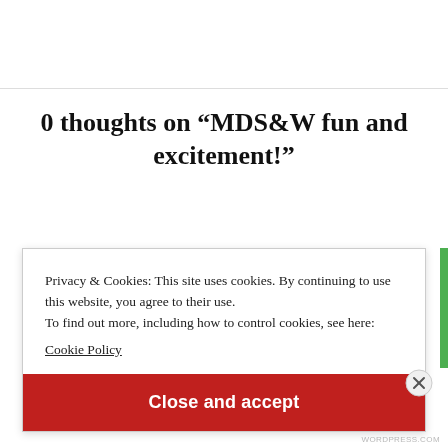0 thoughts on “MDS&W fun and excitement!”
Privacy & Cookies: This site uses cookies. By continuing to use this website, you agree to their use.
To find out more, including how to control cookies, see here:
Cookie Policy
Close and accept